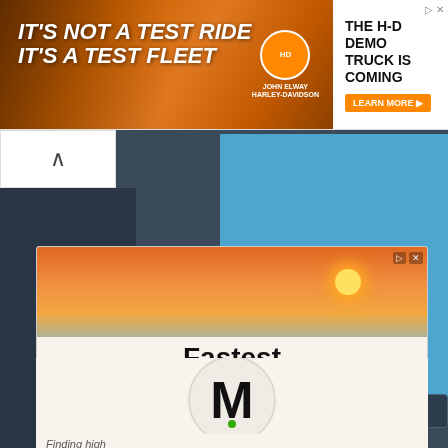[Figure (screenshot): Top banner advertisement for Harley-Davidson H-D Demo Truck. Left side shows orange/brown background with white bold italic text 'IT'S NOT A TEST RIDE IT'S A TEST FLEET' with Harley-Davidson logo. Right side white background with text 'THE H-D DEMO TRUCK IS COMING' and orange 'LEARN MORE' button.]
[Figure (screenshot): Left sidebar advertisement with beach sunset photo showing pier and person silhouette. Below photo, white box with large bold text 'Fastest Apply Process' and Metro logo letter M in circle. Text 'Finding high...' partially visible.]
Partake in... of the polic...
Do you like this gam...
Police Endless Car Tags, Contr...
Tags: